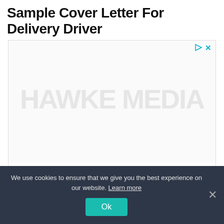Sample Cover Letter For Delivery Driver
[Figure (other): Advertisement banner with watermark text and footer text 'We've Grown Over 2,100 Brands' by Hawke Media. Contains play and close controls in top-right corner.]
We use cookies to ensure that we give you the best experience on our website. Learn more
Ok